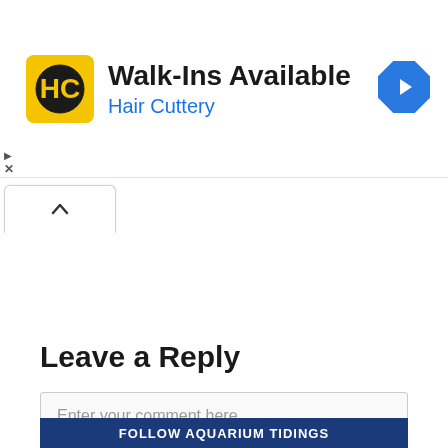[Figure (screenshot): Hair Cuttery advertisement banner with yellow logo, bold text 'Walk-Ins Available', blue subtext 'Hair Cuttery', and a blue diamond navigation icon on the right]
[Figure (screenshot): A tab/chevron up button (^) in a rounded rectangular tab shape]
Leave a Reply
Enter your comment here...
Search the site ...
FOLLOW AQUARIUM TIDINGS